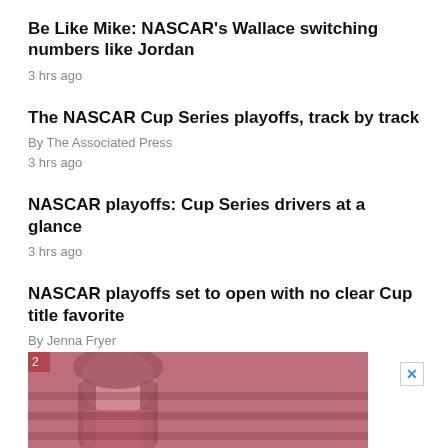Be Like Mike: NASCAR's Wallace switching numbers like Jordan
3 hrs ago
The NASCAR Cup Series playoffs, track by track
By The Associated Press
3 hrs ago
NASCAR playoffs: Cup Series drivers at a glance
3 hrs ago
NASCAR playoffs set to open with no clear Cup title favorite
By Jenna Fryer
5 hrs ago
[Figure (photo): Advertisement banner with a woman's face in pink/red tinted photo, with a close (X) button in blue]